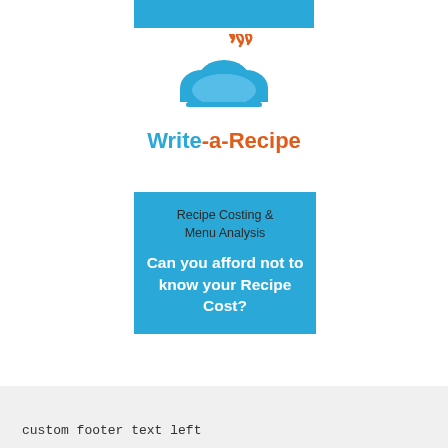[Figure (logo): Write-a-Recipe logo with blue cloud/cloche icon and steam curls in orange, with text Write-a-Recipe in blue and orange]
Recipe Costing & Menu Analysis
Can you afford not to know your Recipe Cost?
custom footer text left